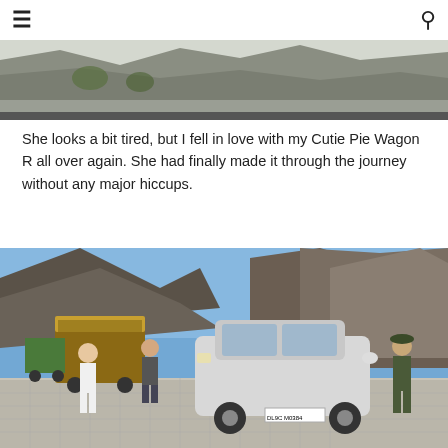≡  🔍
[Figure (photo): Partial top view of a mountain road scene, showing rocky terrain and a snowy/grey hillside.]
She looks a bit tired, but I fell in love with my Cutie Pie Wagon R all over again. She had finally made it through the journey without any major hiccups.
[Figure (photo): A silver Maruti Suzuki Wagon R (license plate DL9C M0384) parked on a cobblestone mountain road with rocky peaks and blue sky in the background. People and a truck are visible in the background. A person in camouflage stands near the car.]